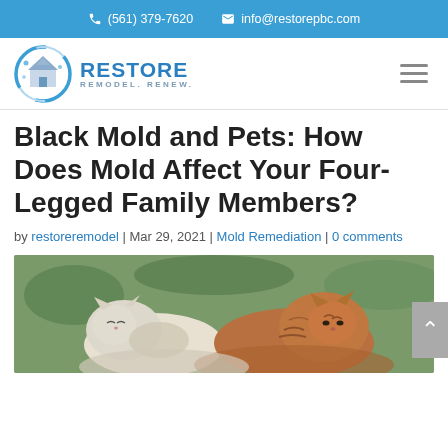(561) 379-7620  info@restorepbc.com
[Figure (logo): Restore Remodel Renew company logo with house/water graphic and blue text]
Black Mold and Pets: How Does Mold Affect Your Four-Legged Family Members?
by restoreremodel | Mar 29, 2021 | Mold Remediation | 0 comments
[Figure (photo): Photo of two fluffy cats cuddling outdoors]